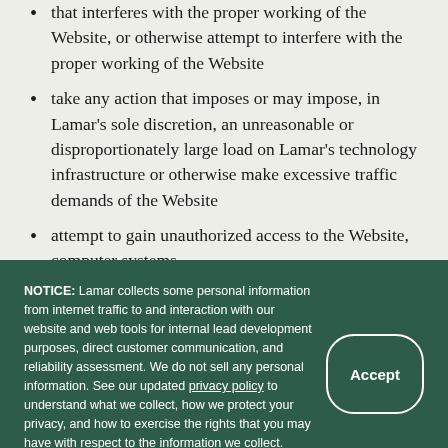that interferes with the proper working of the Website, or otherwise attempt to interfere with the proper working of the Website
take any action that imposes or may impose, in Lamar's sole discretion, an unreasonable or disproportionately large load on Lamar's technology infrastructure or otherwise make excessive traffic demands of the Website
attempt to gain unauthorized access to the Website, computer systems
NOTICE: Lamar collects some personal information from internet traffic to and interaction with our website and web tools for internal lead development purposes, direct customer communication, and reliability assessment. We do not sell any personal information. See our updated privacy policy to understand what we collect, how we protect your privacy, and how to exercise the rights that you may have with respect to the information we collect.